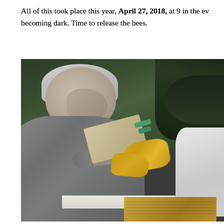All of this took place this year, April 27, 2018, at 9 in the evening, just becoming dark. Time to release the bees.
[Figure (photo): An older man with white/gray hair wearing a gray sweater leans over to examine or open a cardboard box held by a person in a beekeeper's white suit and yellow gloves, outdoors with dark green foliage in the background.]